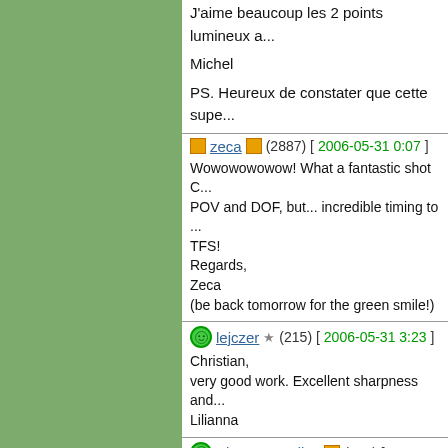J'aime beaucoup les 2 points lumineux a...
Michel
PS. Heureux de constater que cette supe...
zeca (2887) [2006-05-31 0:07]
Wowowowowow! What a fantastic shot C... POV and DOF, but... incredible timing to... TFS! Regards, Zeca (be back tomorrow for the green smile!)
lejczer (215) [2006-05-31 3:23]
Christian, very good work. Excellent sharpness and... Lilianna
Pictures_Collec (509) [2006-06-17 3:0...]
Bravo Christian,

Superbe image. Nettet◆ parfaite etprof...

Serge
snowfalken (1788) [2006-07-16 8:43]
Hallo Christian,